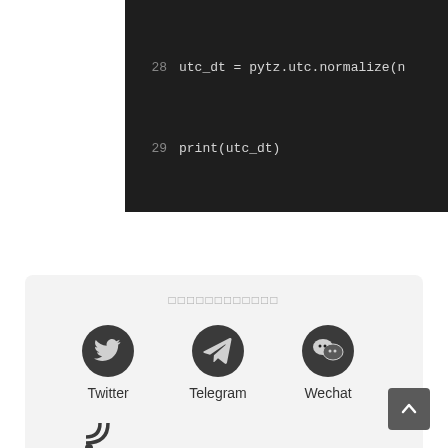[Figure (screenshot): Code editor screenshot showing Python code lines 28-34 with dark background. Lines: 28: utc_dt = pytz.utc.normalize(n, 29: print(utc_dt), 30: (blank), 31: # Step 2: Convert to local ti, 32: pacific = pytz.timezone('US/P, 33: sf_dt = pacific.normalize(utc, 34: print(sf_dt)]
[Figure (infographic): Share widget with social media icons for Twitter, Telegram, Wechat, and RSS with a scroll-to-top button]